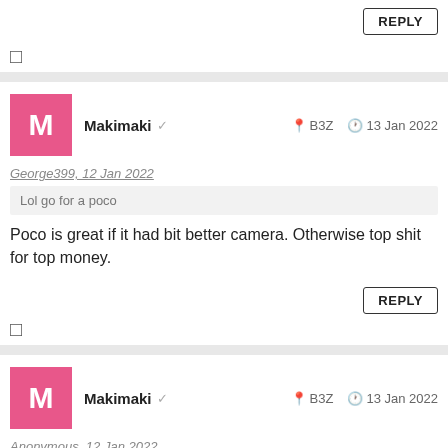[Figure (screenshot): REPLY button in top right corner]
□
Makimaki ✓   📍 B3Z   🕐 13 Jan 2022
George399, 12 Jan 2022
Lol go for a poco
Poco is great if it had bit better camera. Otherwise top shit for top money.
[Figure (screenshot): REPLY button]
□
Makimaki ✓   📍 B3Z   🕐 13 Jan 2022
Anonymous, 12 Jan 2022